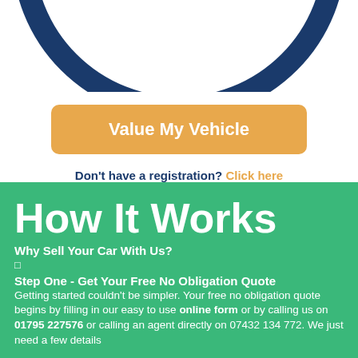[Figure (illustration): Bottom arc of a dark navy blue circle/ring shape, partially cropped at top]
Value My Vehicle
Don't have a registration? Click here
How It Works
Why Sell Your Car With Us?
□
Step One - Get Your Free No Obligation Quote
Getting started couldn't be simpler. Your free no obligation quote begins by filling in our easy to use online form or by calling us on 01795 227576 or calling an agent directly on 07432 134 772. We just need a few details